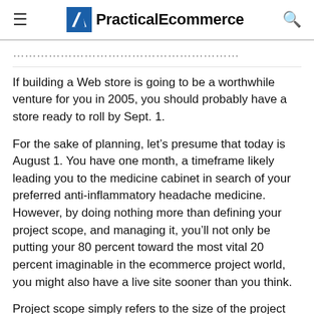PracticalEcommerce
If building a Web store is going to be a worthwhile venture for you in 2005, you should probably have a store ready to roll by Sept. 1.
For the sake of planning, let’s presume that today is August 1. You have one month, a timeframe likely leading you to the medicine cabinet in search of your preferred anti-inflammatory headache medicine. However, by doing nothing more than defining your project scope, and managing it, you’ll not only be putting your 80 percent toward the most vital 20 percent imaginable in the ecommerce project world, you might also have a live site sooner than you think.
Project scope simply refers to the size of the project